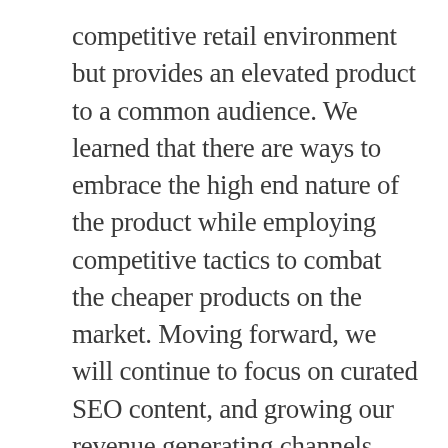competitive retail environment but provides an elevated product to a common audience. We learned that there are ways to embrace the high end nature of the product while employing competitive tactics to combat the cheaper products on the market. Moving forward, we will continue to focus on curated SEO content, and growing our revenue generating channels. The client has been amazing at trusting our suggestions and tactics, and we're so excited to continue growing with them!